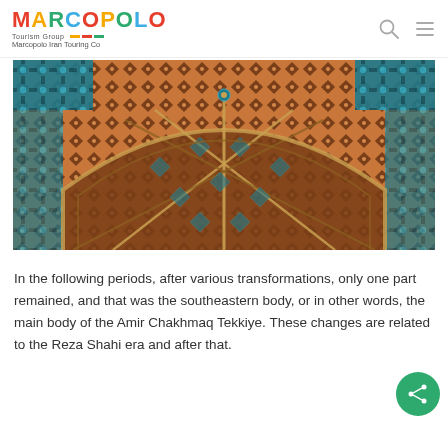MARCOPOLO Tourism Group — Marcopolo Iran Touring Co
[Figure (photo): Close-up photograph of an ornate Islamic architectural ceiling/arch featuring intricate geometric tilework in teal, orange, green, and gold mosaic patterns, typical of Iranian mosque architecture.]
In the following periods, after various transformations, only one part remained, and that was the southeastern body, or in other words, the main body of the Amir Chakhmaq Tekkiye. These changes are related to the Reza Shahi era and after that.